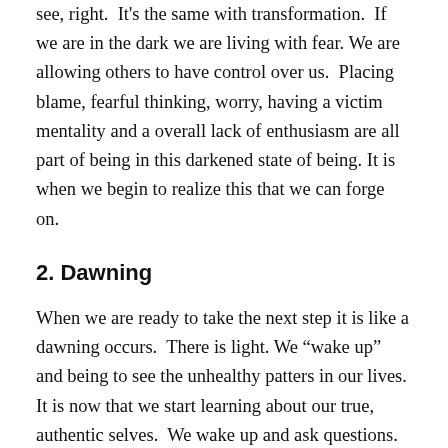see, right.  It's the same with transformation.  If we are in the dark we are living with fear. We are allowing others to have control over us.  Placing blame, fearful thinking, worry, having a victim mentality and a overall lack of enthusiasm are all part of being in this darkened state of being. It is when we begin to realize this that we can forge on.
2. Dawning
When we are ready to take the next step it is like a dawning occurs.  There is light. We “wake up” and being to see the unhealthy patters in our lives.  It is now that we start learning about our true, authentic selves.  We wake up and ask questions. We look for answers and begin to learn that our experiences are not random.